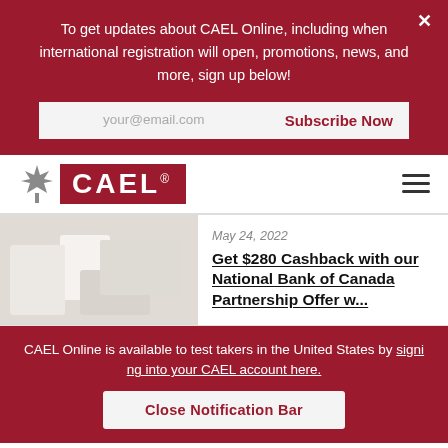To get updates about CAEL Online, including when international registration will open, promotions, news, and more, sign up below!
your@email.com
Subscribe Now
[Figure (logo): CAEL logo with maple leaf icon and red background text box]
May 24, 2022
Get $280 Cashback with our National Bank of Canada Partnership Offer w...
CAEL Online is available to test takers in the United States by signing into your CAEL account here.
Close Notification Bar